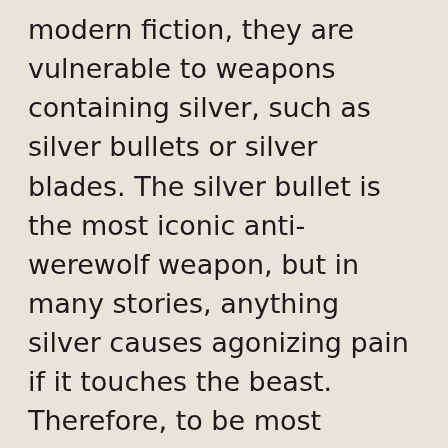modern fiction, they are vulnerable to weapons containing silver, such as silver bullets or silver blades. The silver bullet is the most iconic anti-werewolf weapon, but in many stories, anything silver causes agonizing pain if it touches the beast. Therefore, to be most certain of killing the monster, a werewolf hunter should carry good quantities of wolfsbane, rye grains, mistletoe, and mountain ash leaves or wood, and be armed with a variety of well-made silver weapons.
Since it is likely that a werewolf will overpower